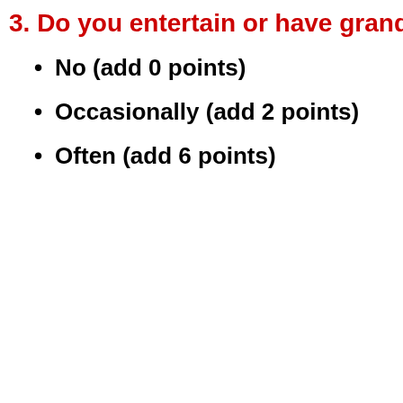3. Do you entertain or have grandchild…
No (add 0 points)
Occasionally (add 2 points)
Often (add 6 points)